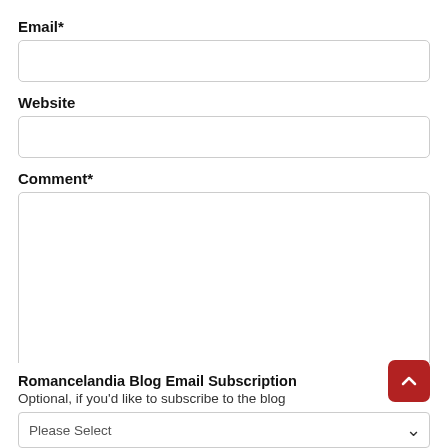Email*
Website
Comment*
Romancelandia Blog Email Subscription
Optional, if you'd like to subscribe to the blog
Please Select